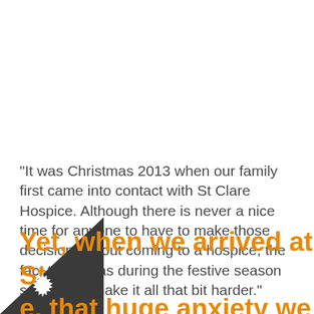“It was Christmas 2013 when our family first came into contact with St Clare Hospice. Although there is never a nice time for anyone to have to make those decisions about coming to a hospice, the fact that it was during the festive season seemed to make it all that bit harder.”
Yet, when we arrived at St …e, that huge anxiety we